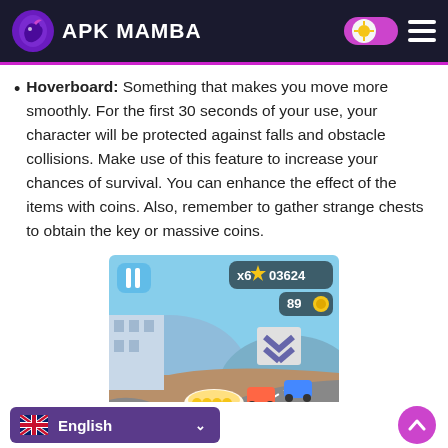APK MAMBA
Hoverboard: Something that makes you move more smoothly. For the first 30 seconds of your use, your character will be protected against falls and obstacle collisions. Make use of this feature to increase your chances of survival. You can enhance the effect of the items with coins. Also, remember to gather strange chests to obtain the key or massive coins.
[Figure (screenshot): Gameplay screenshot showing a racing game with score 03624 and x6 multiplier, 89 coins, with a vehicle on a track]
English